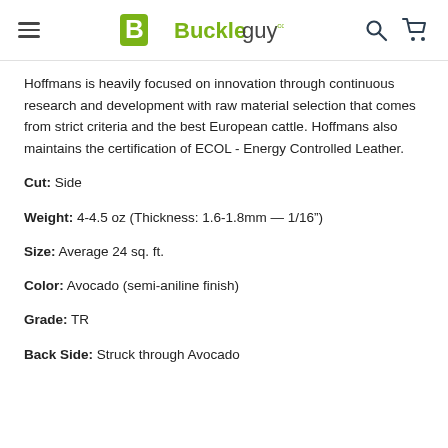Buckleguy.com
Hoffmans is heavily focused on innovation through continuous research and development with raw material selection that comes from strict criteria and the best European cattle. Hoffmans also maintains the certification of ECOL - Energy Controlled Leather.
Cut: Side
Weight: 4-4.5 oz (Thickness: 1.6-1.8mm — 1/16")
Size: Average 24 sq. ft.
Color: Avocado (semi-aniline finish)
Grade: TR
Back Side: Struck through Avocado